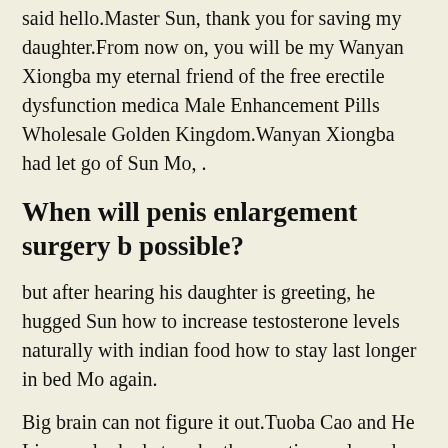said hello.Master Sun, thank you for saving my daughter.From now on, you will be my Wanyan Xiongba my eternal friend of the free erectile dysfunction medica Male Enhancement Pills Wholesale Golden Kingdom.Wanyan Xiongba had let go of Sun Mo, .
When will penis enlargement surgery be possible?
but after hearing his daughter is greeting, he hugged Sun how to increase testosterone levels naturally with indian food how to stay last longer in bed Mo again.
Big brain can not figure it out.Tuoba Cao and He Lianxue looked at each other continuously and sighed Forget it, I only pretend to be sick, I will take a class.